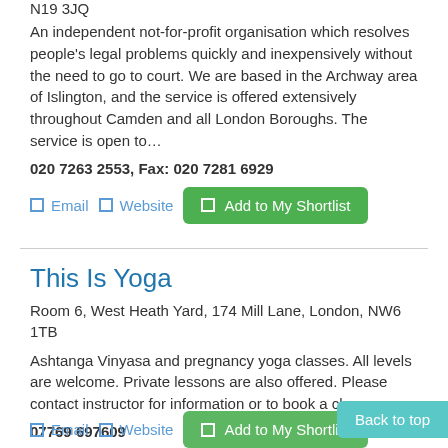N19 3JQ
An independent not-for-profit organisation which resolves people's legal problems quickly and inexpensively without the need to go to court. We are based in the Archway area of Islington, and the service is offered extensively throughout Camden and all London Boroughs. The service is open to…
020 7263 2553, Fax: 020 7281 6929
Email  Website  Add to My Shortlist
This Is Yoga
Room 6, West Heath Yard, 174 Mill Lane, London, NW6 1TB
Ashtanga Vinyasa and pregnancy yoga classes. All levels are welcome. Private lessons are also offered. Please contact instructor for information or to book a class.
07769 697609
Back to top